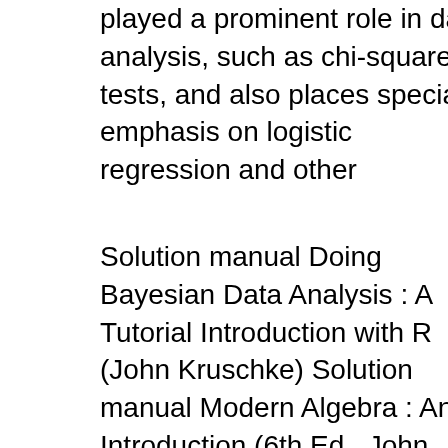played a prominent role in data analysis, such as chi-squared tests, and also places special emphasis on logistic regression and other
Solution manual Doing Bayesian Data Analysis : A Tutorial Introduction with R (John Kruschke) Solution manual Modern Algebra : An Introduction (6th Ed., John Durbin) Solution manual The Art and Craft of Problem Solving (2nd Ed., Paul Zeitz) Categorical data analysis 2nd edition by alan Categorical Data Analysis 2ND Sources and Solutions; Bayesian Analysis for A graduate textbook distinctly more technical and thorough than Agresti's 1996 An introduction to categorical data